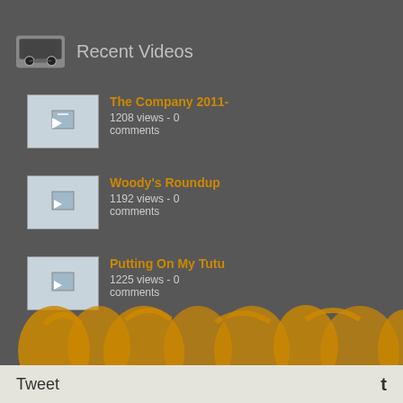$28 for 30min Class, $38 for 45 classes
Recent Videos
The Company 2011- | 1208 views - 0 comments
Woody's Roundup | 1192 views - 0 comments
Putting On My Tutu | 1225 views - 0 comments
Creative Movement - Melanie, a Movement for children of All Ages using music and movement for a confirming what teachers have lo people's souls, it also shapes gro music they become better reader discover about how the brain wo music is to children's learning." C children to explore movement thr channel energy, stimulate imagin movement uses body actions to: communicate an idea (a journey) Through movement, children lear them, and each other. Creative m children to participate. Both boys can, benefit, including children w or physical challenges.
Ballet - A classical dance form de employing formalized steps and a
Tweet   t